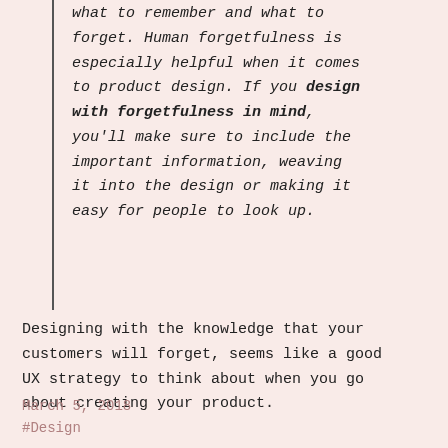what to remember and what to forget. Human forgetfulness is especially helpful when it comes to product design. If you design with forgetfulness in mind, you'll make sure to include the important information, weaving it into the design or making it easy for people to look up.
Designing with the knowledge that your customers will forget, seems like a good UX strategy to think about when you go about creating your product.
March 5, 2018
#Design